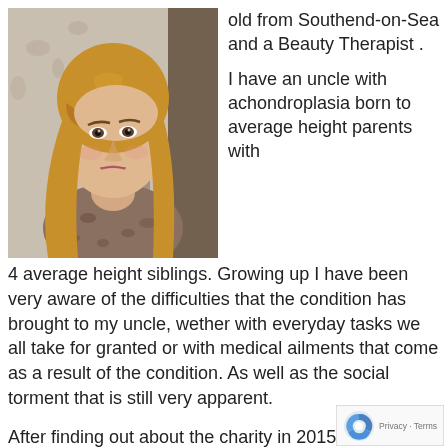[Figure (photo): Portrait photo of a young woman with long blonde hair wearing a leopard print top, posed indoors]
old from Southend-on-Sea and a Beauty Therapist .

I have an uncle with achondroplasia born to average height parents with 4 average height siblings. Growing up I have been very aware of the difficulties that the condition has brought to my uncle, wether with everyday tasks we all take for granted or with medical ailments that come as a result of the condition. As well as the social torment that is still very apparent.
After finding out about the charity in 2015 I felt compelled to start fundraising for them as well as to raise awareness of the condition itself. I regularly run